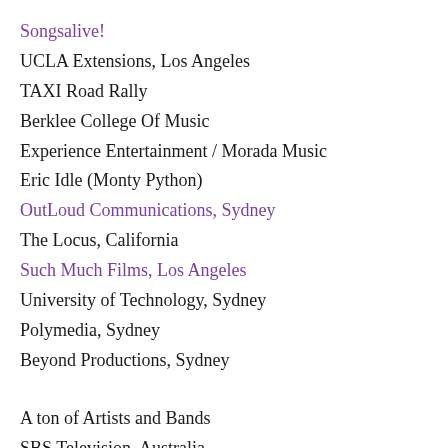Songsalive!
UCLA Extensions, Los Angeles
TAXI Road Rally
Berklee College Of Music
Experience Entertainment / Morada Music
Eric Idle (Monty Python)
OutLoud Communications, Sydney
The Locus, California
Such Much Films, Los Angeles
University of Technology, Sydney
Polymedia, Sydney
Beyond Productions, Sydney
A ton of Artists and Bands
SBS Television, Australia
McPhee Productions, Sydney
Frontline Agency, Sydney